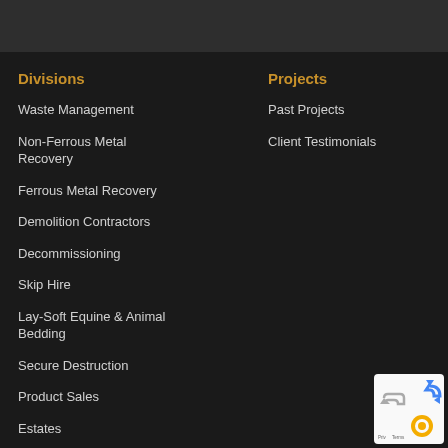Divisions
Waste Management
Non-Ferrous Metal Recovery
Ferrous Metal Recovery
Demolition Contractors
Decommissioning
Skip Hire
Lay-Soft Equine & Animal Bedding
Secure Destruction
Product Sales
Estates
Projects
Past Projects
Client Testimonials
[Figure (logo): reCAPTCHA badge with blue arrow icon and orange circle icon, text Privacy Terms]